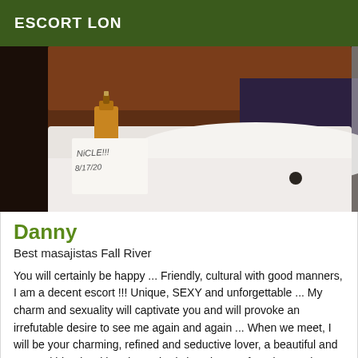ESCORT LON
[Figure (photo): Photo of a person near a bathtub with a handwritten note reading 'NICOLE 8/17/20' and an amber bottle of liquid soap on the tub edge.]
Danny
Best masajistas Fall River
You will certainly be happy ... Friendly, cultural with good manners, I am a decent escort !!! Unique, SEXY and unforgettable ... My charm and sexuality will captivate you and will provoke an irrefutable desire to see me again and again ... When we meet, I will be your charming, refined and seductive lover, a beautiful and sensual blonde with a dream body in velvet. Soft and natural scented skin.